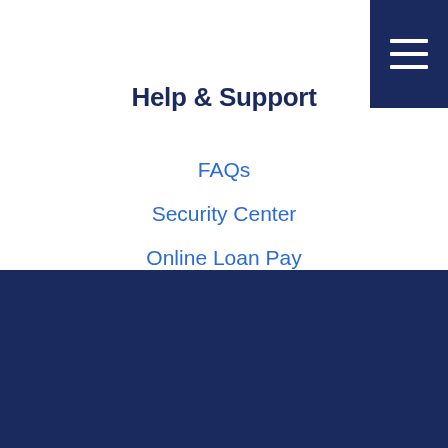[Figure (other): Hamburger menu icon (three white horizontal lines) on dark navy blue background in top-right corner]
Help & Support
FAQs
Security Center
Online Loan Pay
Contact Us
Your savings federally insured to at least $250,000 and backed by the full faith and credit of the United States Government. National Credit Union Administration, a U.S. Government Agency.
Our website contains links to websites owned and operated by third parties. If you use these links, you leave our website. BayPort Credit